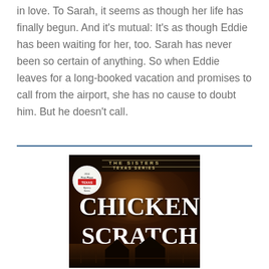in love. To Sarah, it seems as though her life has finally begun. And it's mutual: It's as though Eddie has been waiting for her, too. Sarah has never been so certain of anything. So when Eddie leaves for a long-booked vacation and promises to call from the airport, she has no cause to doubt him. But he doesn't call.
[Figure (illustration): Book cover for 'Chicken Scratch', part of The Sisters Texas Series. Dark atmospheric cover with barn imagery, orange glow sky, and a circular award badge reading '2014 First Place Texas Mystery Series'. Title text is large white bold serif font.]